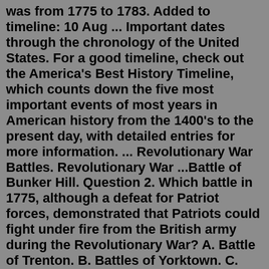was from 1775 to 1783. Added to timeline: 10 Aug ... Important dates through the chronology of the United States. For a good timeline, check out the America's Best History Timeline, which counts down the five most important events of most years in American history from the 1400's to the present day, with detailed entries for more information. ... Revolutionary War Battles. Revolutionary War ...Battle of Bunker Hill. Question 2. Which battle in 1775, although a defeat for Patriot forces, demonstrated that Patriots could fight under fire from the British army during the Revolutionary War? A. Battle of Trenton. B. Battles of Yorktown. C. Battle of Bunker Hill.Pontiac's Rebellion Begins May 7, 1763 - Pontiac leads Ottawa and other Indians in an attack on the fort at Detroit. Failing to take the fort, the Indians begin to lay siege to it. The raid marks the beginning of Pontiac's Rebellion. It was also known as Pontiac's War or, in England, as Pontiac's Conspiracy. Passage of the Currency ActIn 1819 the remaining Cherokees who opposed removal